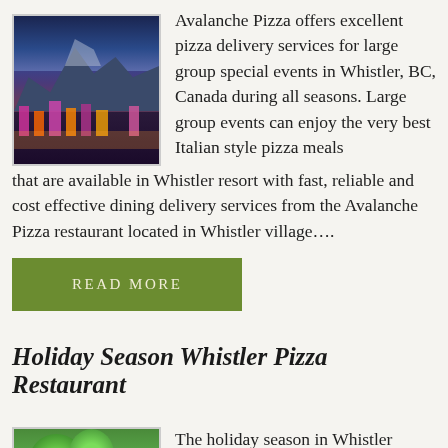[Figure (photo): Night photo of Whistler village with snow-capped mountains in background and colorful lights on buildings]
Avalanche Pizza offers excellent pizza delivery services for large group special events in Whistler, BC, Canada during all seasons. Large group events can enjoy the very best Italian style pizza meals that are available in Whistler resort with fast, reliable and cost effective dining delivery services from the Avalanche Pizza restaurant located in Whistler village….
READ MORE
Holiday Season Whistler Pizza Restaurant
[Figure (photo): Photo related to holiday season in Whistler, showing green tropical or festive plants]
The holiday season in Whistler resort is an exciting time with lots of